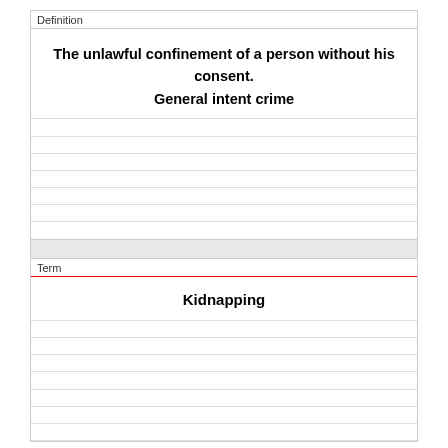Definition
The unlawful confinement of a person without his consent. General intent crime
Term
Kidnapping